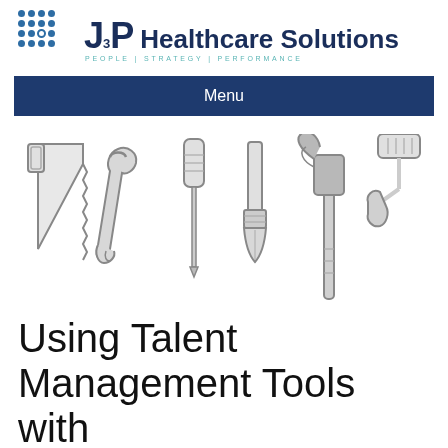[Figure (logo): J3P Healthcare Solutions logo with dot grid pattern and tagline PEOPLE | STRATEGY | PERFORMANCE]
Menu
[Figure (illustration): Row of six hand-drawn tool illustrations: handsaw, wrench, screwdriver, paintbrush, hammer/claw, paint roller]
Using Talent Management Tools with